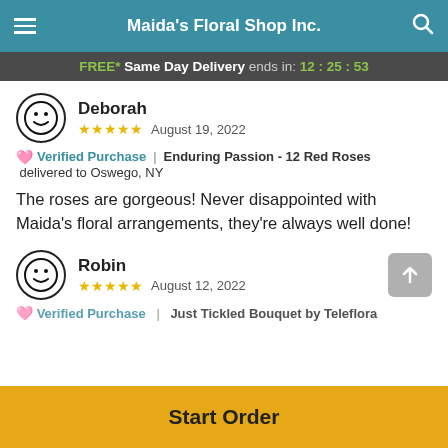Maida's Floral Shop Inc.
FREE* Same Day Delivery ends in: 12:25:53
Deborah
★★★★★ August 19, 2022
💗 Verified Purchase | Enduring Passion - 12 Red Roses delivered to Oswego, NY
The roses are gorgeous! Never disappointed with Maida's floral arrangements, they're always well done!
Robin
★★★★★ August 12, 2022
💗 Verified Purchase | Just Tickled Bouquet by Teleflora delivered to
Start Order